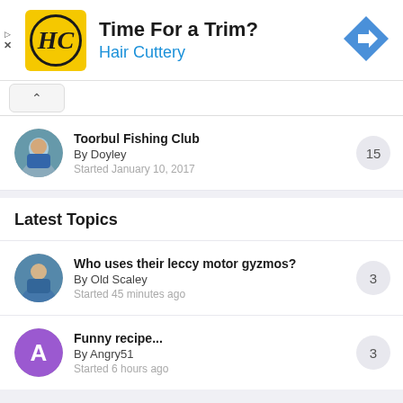[Figure (infographic): Advertisement banner for Hair Cuttery with HC logo in yellow square, title 'Time For a Trim?' and blue subtitle 'Hair Cuttery', with blue diamond direction arrow on right]
Toorbul Fishing Club
By Doyley
Started January 10, 2017
[15 replies]
Latest Topics
Who uses their leccy motor gyzmos?
By Old Scaley
Started 45 minutes ago
[3 replies]
Funny recipe...
By Angry51
Started 6 hours ago
[3 replies]